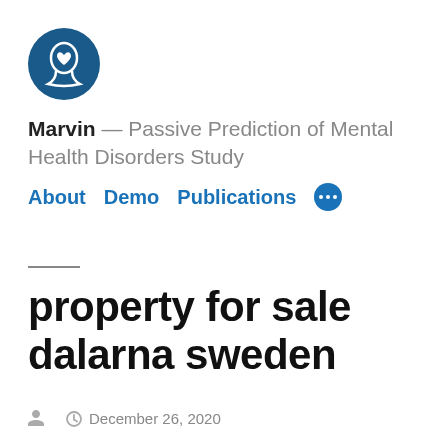[Figure (logo): Dark blue circular logo with a head silhouette containing a heart symbol inside]
Marvin — Passive Prediction of Mental Health Disorders Study
About  Demo  Publications  •••
property for sale dalarna sweden
December 26, 2020